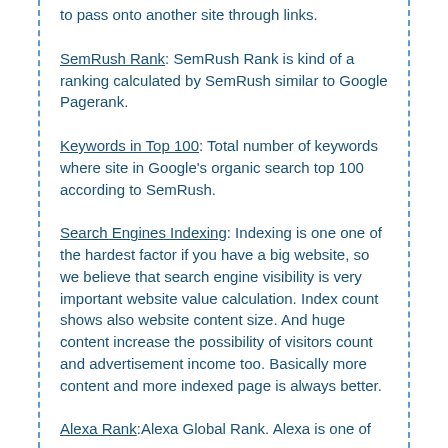to pass onto another site through links.
SemRush Rank: SemRush Rank is kind of a ranking calculated by SemRush similar to Google Pagerank.
Keywords in Top 100: Total number of keywords where site in Google's organic search top 100 according to SemRush.
Search Engines Indexing: Indexing is one one of the hardest factor if you have a big website, so we believe that search engine visibility is very important website value calculation. Index count shows also website content size. And huge content increase the possibility of visitors count and advertisement income too. Basically more content and more indexed page is always better.
Alexa Rank: Alexa Global Rank. Alexa is one of